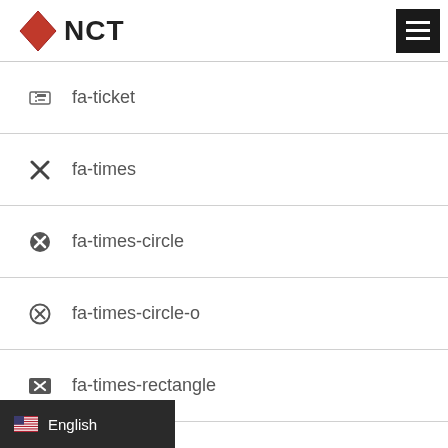NCT
fa-ticket
fa-times
fa-times-circle
fa-times-circle-o
fa-times-rectangle
fa-times-rectangle-o
English